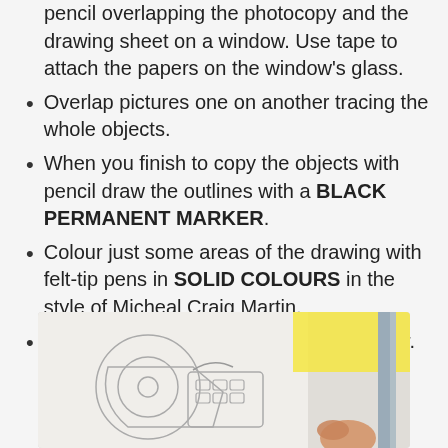pencil overlapping the photocopy and the drawing sheet on a window. Use tape to attach the papers on the window's glass.
Overlap pictures one on another tracing the whole objects.
When you finish to copy the objects with pencil draw the outlines with a BLACK PERMANENT MARKER.
Colour just some areas of the drawing with felt-tip pens in SOLID COLOURS in the style of Micheal Craig Martin.
Colour the background with a solid colour.
[Figure (photo): Photo showing a hand drawing outlines on paper with a pencil or marker, with tape dispenser visible, and a yellow sticky note in background]